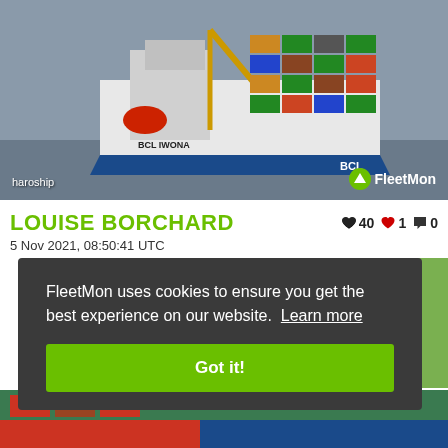[Figure (photo): Container ship named BCL IWONA with blue hull loaded with colorful shipping containers, sailing on a waterway. Photo credited to 'haroship' with FleetMon watermark in the bottom right.]
LOUISE BORCHARD
👍 40  ❤️ 1  💬 0
5 Nov 2021, 08:50:41 UTC
FleetMon uses cookies to ensure you get the best experience on our website. Learn more
Got it!
[Figure (photo): Partial view of another ship photo partially visible behind the cookie consent overlay and at the bottom of the page.]